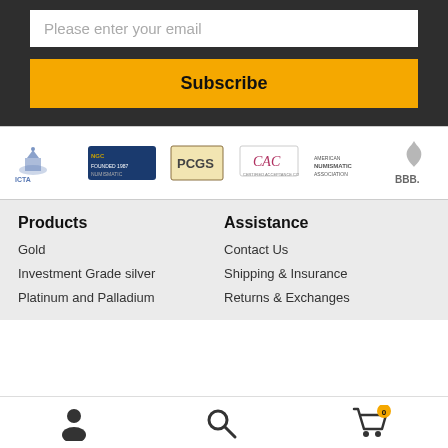Please enter your email
Subscribe
[Figure (logo): Row of logos: ICTA, NGC, PCGS, CAC, Numismatic, BBB]
Products
Gold
Investment Grade silver
Platinum and Palladium
Assistance
Contact Us
Shipping & Insurance
Returns & Exchanges
[Figure (infographic): Mobile nav bar with person icon, search icon, and cart icon showing 0]